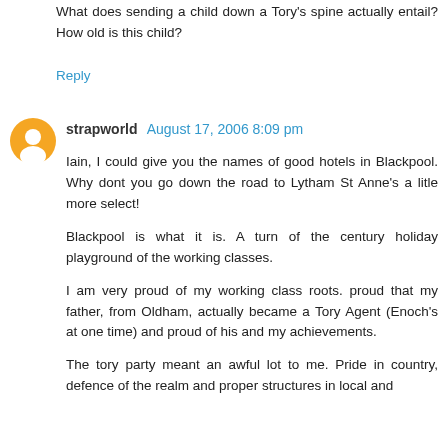What does sending a child down a Tory's spine actually entail? How old is this child?
Reply
strapworld  August 17, 2006 8:09 pm
Iain, I could give you the names of good hotels in Blackpool. Why dont you go down the road to Lytham St Anne's a litle more select!
Blackpool is what it is. A turn of the century holiday playground of the working classes.
I am very proud of my working class roots. proud that my father, from Oldham, actually became a Tory Agent (Enoch's at one time) and proud of his and my achievements.
The tory party meant an awful lot to me. Pride in country, defence of the realm and proper structures in local and